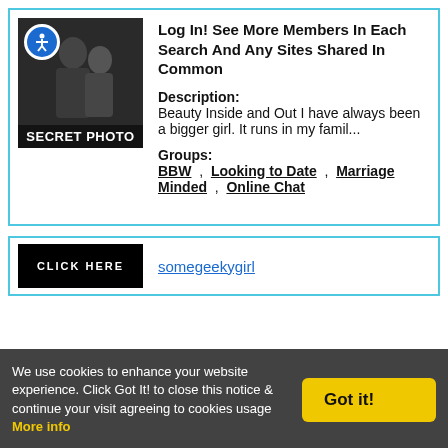[Figure (photo): Secret photo placeholder with accessibility icon and 'SECRET PHOTO' label overlay]
Log In! See More Members In Each Search And Any Sites Shared In Common
Description: Beauty Inside and Out I have always been a bigger girl. It runs in my famil...
Groups: BBW , Looking to Date , Marriage Minded , Online Chat
[Figure (photo): Black banner with 'CLICK HERE' text]
somegeekygirl
We use cookies to enhance your website experience. Click Got It! to close this notice & continue your visit agreeing to cookies usage More info